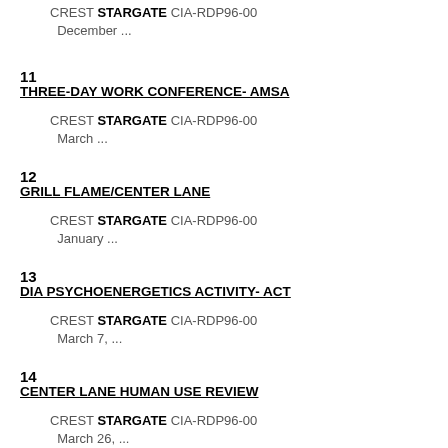CREST STARGATE CIA-RDP96-00
December ...
11
THREE-DAY WORK CONFERENCE- AMSA
CREST STARGATE CIA-RDP96-00
March ...
12
GRILL FLAME/CENTER LANE
CREST STARGATE CIA-RDP96-00
January ...
13
DIA PSYCHOENERGETICS ACTIVITY- ACT
CREST STARGATE CIA-RDP96-00
March 7, ...
14
CENTER LANE HUMAN USE REVIEW
CREST STARGATE CIA-RDP96-00
March 26, ...